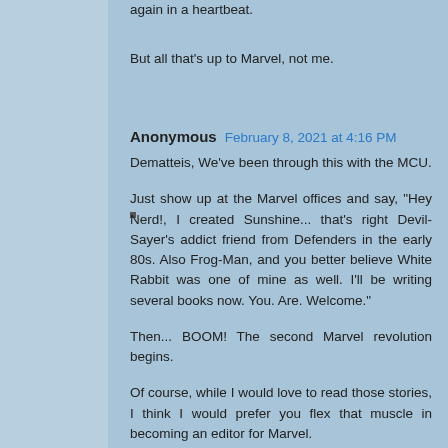again in a heartbeat.
But all that's up to Marvel, not me.
Anonymous  February 8, 2021 at 4:16 PM
Dematteis, We've been through this with the MCU.
Just show up at the Marvel offices and say, "Hey Nerd!, I created Sunshine... that's right Devil-Sayer's addict friend from Defenders in the early 80s. Also Frog-Man, and you better believe White Rabbit was one of mine as well. I'll be writing several books now. You. Are. Welcome."
Then... BOOM! The second Marvel revolution begins.
Of course, while I would love to read those stories, I think I would prefer you flex that muscle in becoming an editor for Marvel.